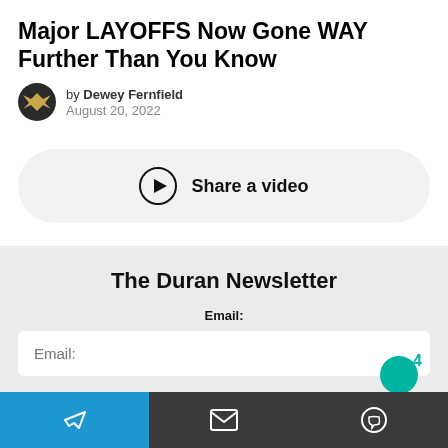Major LAYOFFS Now Gone WAY Further Than You Know
by Dewey Fernfield
August 20, 2022
[Figure (other): Video share button with play icon and label 'Share a video']
The Duran Newsletter
Email:
Bottom navigation bar with Telegram, email, and chat icons